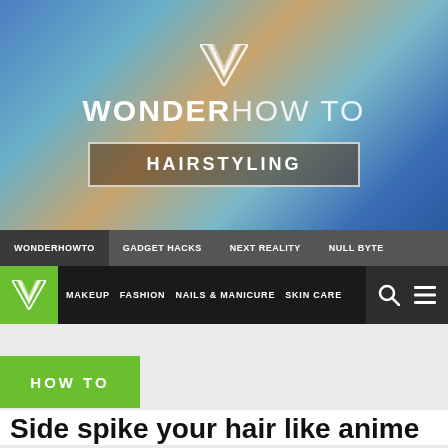[Figure (logo): Wonder How To website header banner with logo, brand name, and Hairstyling category badge over a blurred colorful gradient background]
WONDERHOWTO  GADGET HACKS  NEXT REALITY  NULL BYTE
MAKEUP  FASHION  NAILS & MANICURE  SKIN CARE
HOW TO
Side spike your hair like anime